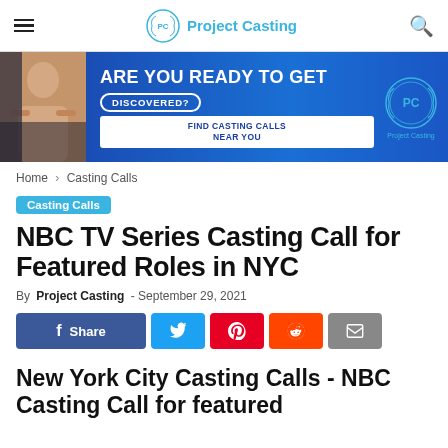Project Casting
[Figure (infographic): Blue banner advertisement: 'ARE YOU READY TO GET DISCOVERED? FIND CASTING CALLS NEAR YOU' with Project Casting logo and woman photo]
Home › Casting Calls
Casting Calls
NBC TV Series Casting Call for Featured Roles in NYC
By Project Casting - September 29, 2021
Share (Facebook, Twitter, Pinterest, Reddit, Email)
New York City Casting Calls - NBC Casting Call for featured